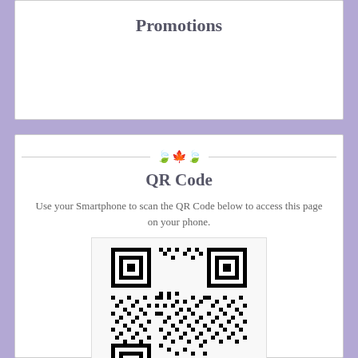Promotions
QR Code
Use your Smartphone to scan the QR Code below to access this page on your phone.
[Figure (other): QR code image for scanning with a smartphone]